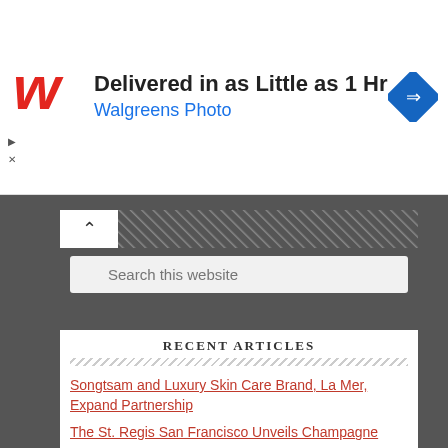[Figure (screenshot): Walgreens Photo advertisement banner: logo, headline 'Delivered in as Little as 1 Hr', subline 'Walgreens Photo', and a blue diamond direction icon on the right.]
[Figure (screenshot): Search box with magnifying glass icon and placeholder text 'Search this website']
RECENT ARTICLES
Songtsam and Luxury Skin Care Brand, La Mer, Expand Partnership
The St. Regis San Francisco Unveils Champagne